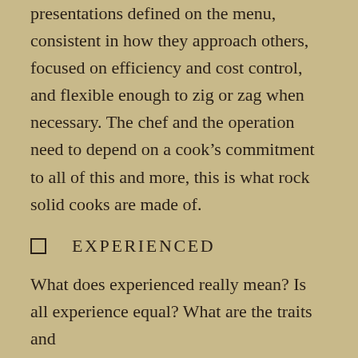presentations defined on the menu, consistent in how they approach others, focused on efficiency and cost control, and flexible enough to zig or zag when necessary. The chef and the operation need to depend on a cook's commitment to all of this and more, this is what rock solid cooks are made of.
☐ EXPERIENCED
What does experienced really mean? Is all experience equal? What are the traits and